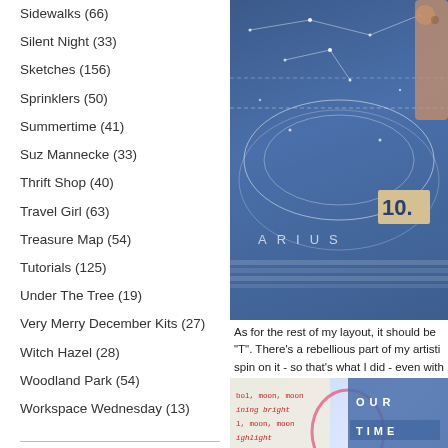Sidewalks (66)
Silent Night (33)
Sketches (156)
Sprinklers (50)
Summertime (41)
Suz Mannecke (33)
Thrift Shop (40)
Travel Girl (63)
Treasure Map (54)
Tutorials (125)
Under The Tree (19)
Very Merry December Kits (27)
Witch Hazel (28)
Woodland Park (54)
Workspace Wednesday (13)
OA BLOG BADGE
[Figure (photo): Blue star map scrapbook layout with constellation designs and a wooden dog embellishment, showing number 10.]
As for the rest of my layout, it should be "T". There's a rebellious part of my artisti spin on it - so that's what I did - even with
[Figure (photo): Scrapbook layout bottom showing lyrics text in red and a panel reading OUR TIME SONG in blue letter tiles.]